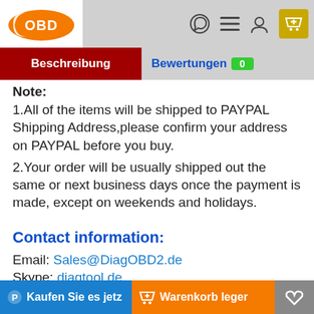[Figure (logo): OBD logo with orange oval background and white OBD text]
Beschreibung | Bewertungen 0
Note:
1.All of the items will be shipped to PAYPAL Shipping Address,please confirm your address on PAYPAL before you buy.
2.Your order will be usually shipped out the same or next business days once the payment is made, except on weekends and holidays.
Contact information:
Email: Sales@DiagOBD2.de
Skype: diagtool.de
Mobile:+86 15223201143
WhatsApp: +86 15223201143
Kaufen Sie es jetzt | Warenkorb legen